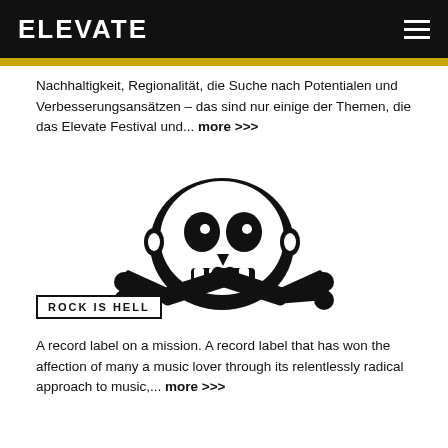ELEVATE
Nachhaltigkeit, Regionalität, die Suche nach Potentialen und Verbesserungsansätzen – das sind nur einige der Themen, die das Elevate Festival und... more >>>
[Figure (illustration): Skull and crossbones logo in black and white]
ROCK IS HELL
A record label on a mission. A record label that has won the affection of many a music lover through its relentlessly radical approach to music,... more >>>